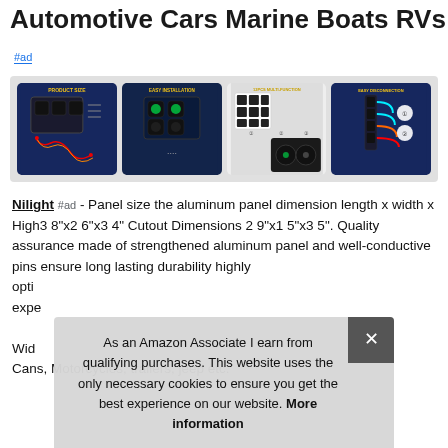Automotive Cars Marine Boats RVs
#ad
[Figure (photo): Four product images showing: 1) Product size with switch panel and wiring, 2) Easy installation with green-lit switches, 3) 12-piece switch panel assembly steps, 4) Easy disconnection showing wiring harness]
Nilight #ad - Panel size the aluminum panel dimension length x width x High3 8"x2 6"x3 4" Cutout Dimensions 2 9"x1 5"x3 5". Quality assurance made of strengthened aluminum panel and well-conductive pins ensure long lasting durability highly opti... expe... Wid... Cans, Motorcycles, trailers, jeep etc.
As an Amazon Associate I earn from qualifying purchases. This website uses the only necessary cookies to ensure you get the best experience on our website. More information